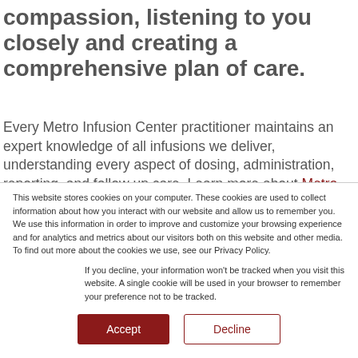compassion, listening to you closely and creating a comprehensive plan of care.
Every Metro Infusion Center practitioner maintains an expert knowledge of all infusions we deliver, understanding every aspect of dosing, administration, reporting, and follow up care. Learn more about Metro
This website stores cookies on your computer. These cookies are used to collect information about how you interact with our website and allow us to remember you. We use this information in order to improve and customize your browsing experience and for analytics and metrics about our visitors both on this website and other media. To find out more about the cookies we use, see our Privacy Policy.
If you decline, your information won't be tracked when you visit this website. A single cookie will be used in your browser to remember your preference not to be tracked.
Accept
Decline